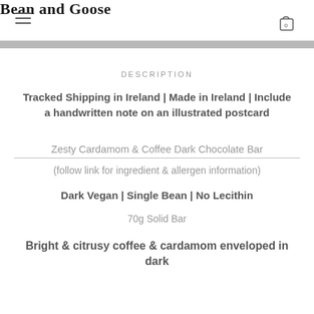Bean and Goose
DESCRIPTION
Tracked Shipping in Ireland | Made in Ireland | Include a handwritten note on an illustrated postcard
Zesty Cardamom & Coffee Dark Chocolate Bar
(follow link for ingredient & allergen information)
Dark Vegan | Single Bean | No Lecithin
70g Solid Bar
Bright & citrusy coffee & cardamom enveloped in dark